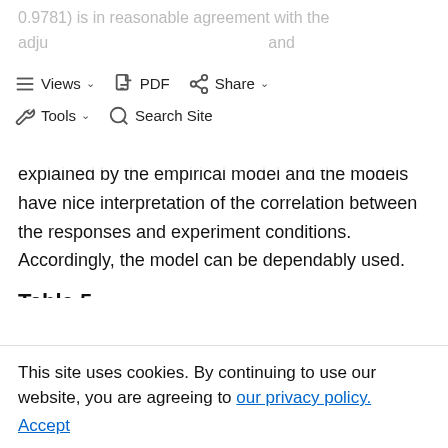0.9781) is in reasonable agreement with the adjusted R2 value (0.95), the high F and non significance of lack of fit (P > 0.05) demonstrate that only 2.5% of total variation cannot be explained by the empirical model and the models have nice interpretation of the correlation between the responses and experiment conditions. Accordingly, the model can be dependably used.
Table 5
The BBD for three-level-four-factor RSM
| Run | Coded values | Actual valu |
| --- | --- | --- |
This site uses cookies. By continuing to use our website, you are agreeing to our privacy policy. Accept